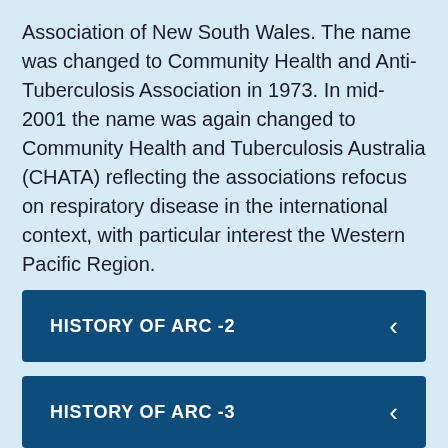Association of New South Wales. The name was changed to Community Health and Anti-Tuberculosis Association in 1973. In mid-2001 the name was again changed to Community Health and Tuberculosis Australia (CHATA) reflecting the associations refocus on respiratory disease in the international context, with particular interest the Western Pacific Region.
HISTORY OF ARC -2
HISTORY OF ARC -3